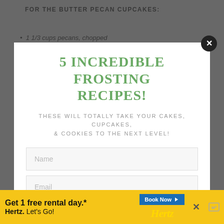FOR THE BUTTER PECAN CUPCAKES:
1 1/3 cups pecans, chopped
5 INCREDIBLE FROSTING RECIPES!
THESE WILL TOTALLY TAKE YOUR CAKES, CUPCAKES, & COOKIES TO THE NEXT LEVEL!
Name
Email
YES, I WANT IT!
[Figure (screenshot): Hertz advertisement banner: 'Get 1 free rental day.* Hertz. Let's Go!' with a 'Book Now' button and yellow background.]